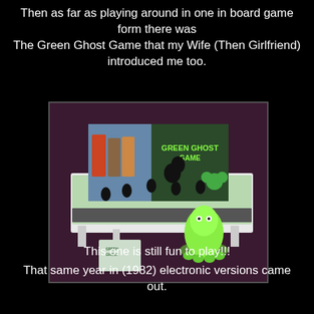Then as far as playing around in one in board game form there was The Green Ghost Game that my Wife (Then Girlfriend) introduced me too.
[Figure (photo): Photo of the Green Ghost Game board game set up, showing the game box with 'GREEN GHOST GAME' text, game board with pieces, a green ghost figurine, and instruction booklet on a purple/maroon surface.]
This one is still fun to play!!!
That same year in (1982) electronic versions came out.